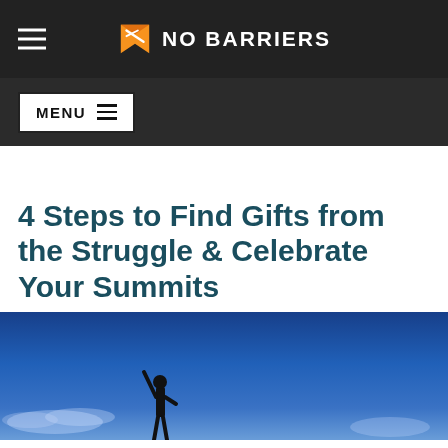NO BARRIERS
MENU
4 Steps to Find Gifts from the Struggle & Celebrate Your Summits
[Figure (photo): Blue sky with clouds and a silhouette of a person with arm raised triumphantly]